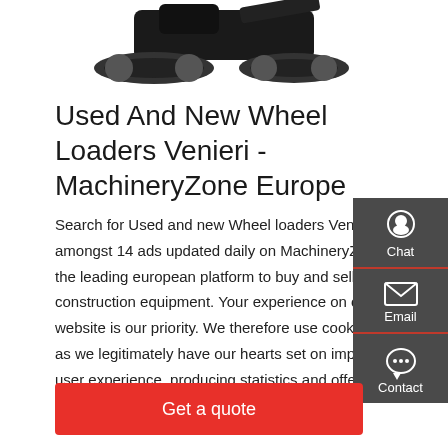[Figure (photo): Black tracked heavy construction machine (rubber track undercarriage) viewed from above-front angle against white background]
Used And New Wheel Loaders Venieri - MachineryZone Europe
Search for Used and new Wheel loaders Venieri amongst 14 ads updated daily on MachineryZone, the leading european platform to buy and sell construction equipment. Your experience on our website is our priority. We therefore use cookies, as we legitimately have our hearts set on improv user experience, producing statistics and offering ad
[Figure (infographic): Dark grey sidebar panel with Chat (headset icon), Email (envelope icon), and Contact (speech bubble icon) buttons]
Get a quote